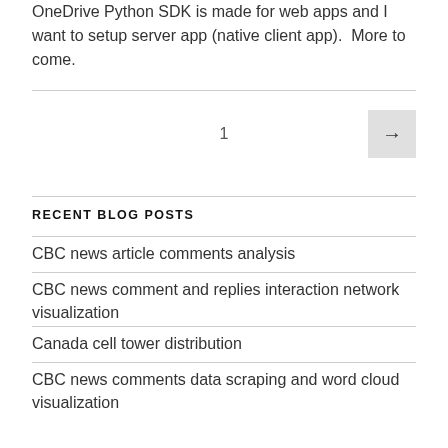OneDrive Python SDK is made for web apps and I want to setup server app (native client app).  More to come.
1
RECENT BLOG POSTS
CBC news article comments analysis
CBC news comment and replies interaction network visualization
Canada cell tower distribution
CBC news comments data scraping and word cloud visualization